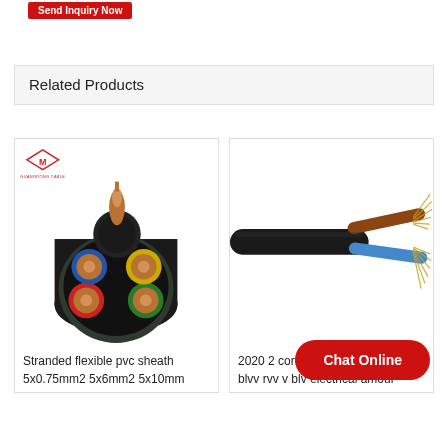Send Inquiry Now
Related Products
[Figure (photo): Guangdong Cable brand multi-core stranded flexible PVC sheath cable cross-section showing 5 copper conductor cores with colored insulation (blue, yellow, red, green) and black outer jacket]
Stranded flexible pvc sheath
5x0.75mm2 5x6mm2 5x10mm
[Figure (photo): 2-core electrical cable showing brown and blue insulated stranded copper conductors with black outer jacket, wires splayed at right end]
2020 2 core blvv rvv v blv electrical amour
Chat Online